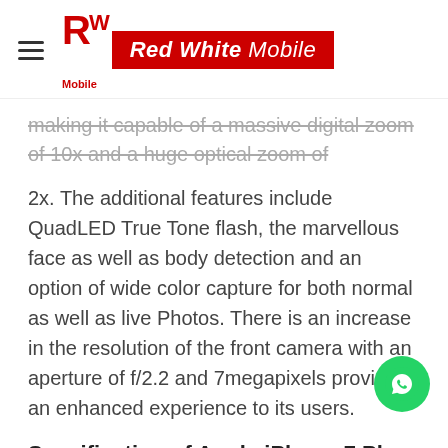RW Mobile | Red White Mobile
making it capable of a massive digital zoom of 10x and a huge optical zoom of
2x. The additional features include QuadLED True Tone flash, the marvellous face as well as body detection and an option of wide color capture for both normal as well as live Photos. There is an increase in the resolution of the front camera with an aperture of f/2.2 and 7megapixels provide an enhanced experience to its users.
Specification of Apple iPhone 7 Plus
NETWORK
Technology